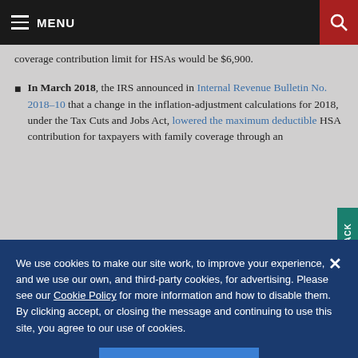MENU
coverage contribution limit for HSAs would be $6,900.
In March 2018, the IRS announced in Internal Revenue Bulletin No. 2018–10 that a change in the inflation-adjustment calculations for 2018, under the Tax Cuts and Jobs Act, lowered the maximum deductible HSA contribution for taxpayers with family coverage through an
We use cookies to make our site work, to improve your experience, and we use our own, and third-party cookies, for advertising. Please see our Cookie Policy for more information and how to disable them. By clicking accept, or closing the message and continuing to use this site, you agree to our use of cookies.
ACCEPT